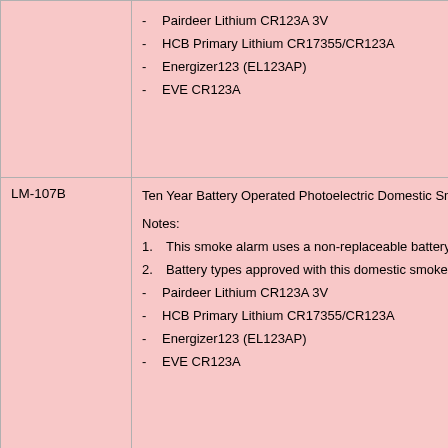| Model | Description |
| --- | --- |
|  | - Pairdeer Lithium CR123A 3V
- HCB Primary Lithium CR17355/CR123A
- Energizer123 (EL123AP)
- EVE CR123A |
| LM-107B | Ten Year Battery Operated Photoelectric Domestic Sm...
Notes:
1. This smoke alarm uses a non-replaceable battery...
2. Battery types approved with this domestic smoke...
- Pairdeer Lithium CR123A 3V
- HCB Primary Lithium CR17355/CR123A
- Energizer123 (EL123AP)
- EVE CR123A |
| LM-107C | Ten Year Battery Operated Photoelectric Domestic Sm...
Notes:
1. This smoke alarm uses a non-replaceable battery... |